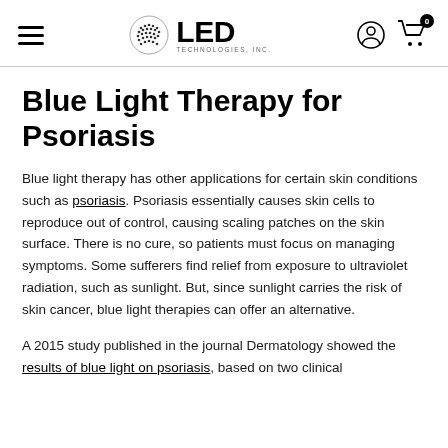LED Technologies, Inc. — navigation header with hamburger menu, logo, user icon, and cart icon
Blue Light Therapy for Psoriasis
Blue light therapy has other applications for certain skin conditions such as psoriasis. Psoriasis essentially causes skin cells to reproduce out of control, causing scaling patches on the skin surface. There is no cure, so patients must focus on managing symptoms. Some sufferers find relief from exposure to ultraviolet radiation, such as sunlight. But, since sunlight carries the risk of skin cancer, blue light therapies can offer an alternative.
A 2015 study published in the journal Dermatology showed the results of blue light on psoriasis, based on two clinical